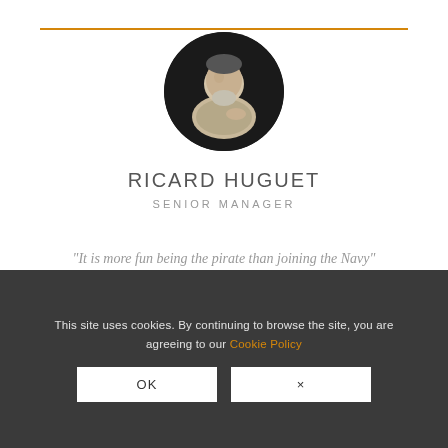[Figure (photo): Circular profile photo of Ricard Huguet, a man in a light grey shirt presenting at an event against a dark background]
RICARD HUGUET
SENIOR MANAGER
“It is more fun being the pirate than joining the Navy”
This site uses cookies. By continuing to browse the site, you are agreeing to our Cookie Policy
OK
×